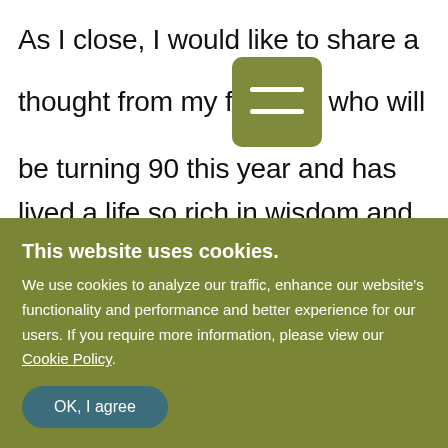As I close, I would like to share a thought from my f[menu icon]who will be turning 90 this year and has lived a life so rich in wisdom and experience. Just as our hotel families have come to see my mother as their own, so they see my father as well, turning to him for sage advice during this trying time. When they do, he says the same words to them that he said to me and my
This website uses cookies. We use cookies to analyze our traffic, enhance our website's functionality and performance and better experience for our users. If you require more information, please view our Cookie Policy.